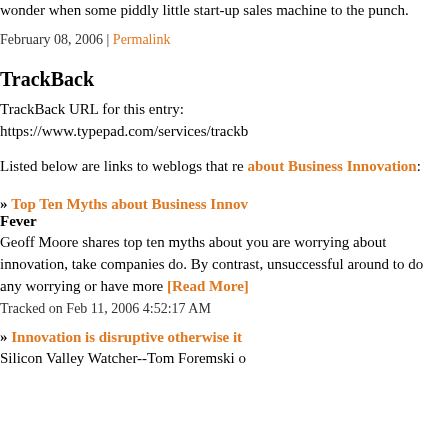wonder when some piddly little start-up sales machine to the punch.
February 08, 2006 | Permalink
TrackBack
TrackBack URL for this entry: https://www.typepad.com/services/trackb
Listed below are links to weblogs that re about Business Innovation:
» Top Ten Myths about Business Innov Fever
Geoff Moore shares top ten myths about you are worrying about innovation, take companies do. By contrast, unsuccessful around to do any worrying or have more [Read More]
Tracked on Feb 11, 2006 4:52:17 AM
» Innovation is disruptive otherwise it
Silicon Valley Watcher--Tom Foremski o